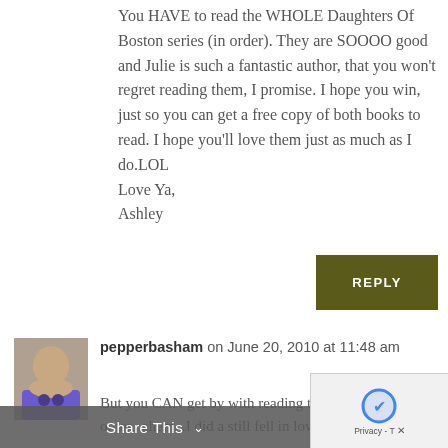You HAVE to read the WHOLE Daughters Of Boston series (in order). They are SOOOO good and Julie is such a fantastic author, that you won't regret reading them, I promise. I hope you win, just so you can get a free copy of both books to read. I hope you'll love them just as much as I do.LOL
Love Ya,
Ashley
REPLY
pepperbasham on June 20, 2010 at 11:48 am
But you CAN get by with reading them out of order...ahem...I did a still fell in love with them.
Share This